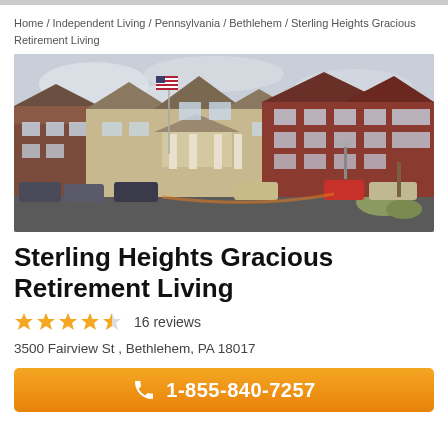Home / Independent Living / Pennsylvania / Bethlehem / Sterling Heights Gracious Retirement Living
[Figure (photo): Exterior photo of Sterling Heights Gracious Retirement Living facility showing multi-story brick and tan building with covered entrance, flag pole with American flag, parking lot with cars, and landscaping under cloudy sky.]
Sterling Heights Gracious Retirement Living
★★★★½ 16 reviews
3500 Fairview St , Bethlehem, PA 18017
1-855-840-7257